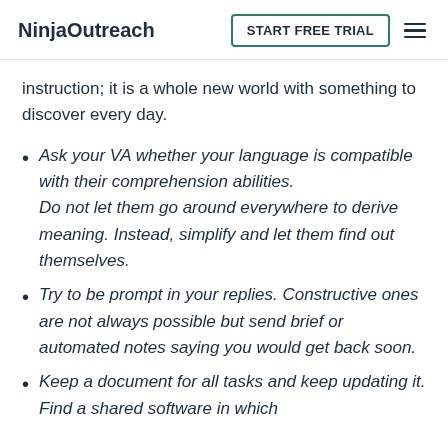NinjaOutreach | START FREE TRIAL
instruction; it is a whole new world with something to discover every day.
Ask your VA whether your language is compatible with their comprehension abilities. Do not let them go around everywhere to derive meaning. Instead, simplify and let them find out themselves.
Try to be prompt in your replies. Constructive ones are not always possible but send brief or automated notes saying you would get back soon.
Keep a document for all tasks and keep updating it. Find a shared software in which